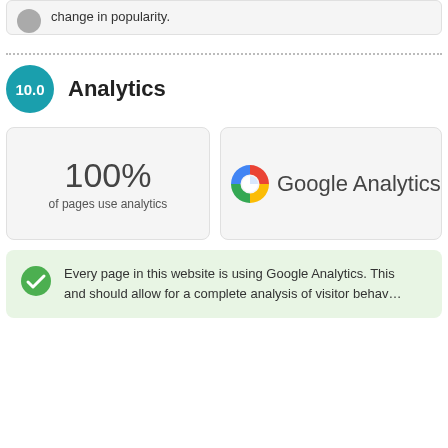change in popularity.
10.0  Analytics
100% of pages use analytics
[Figure (logo): Google Analytics logo with colorful G icon]
Every page in this website is using Google Analytics. This and should allow for a complete analysis of visitor behav…